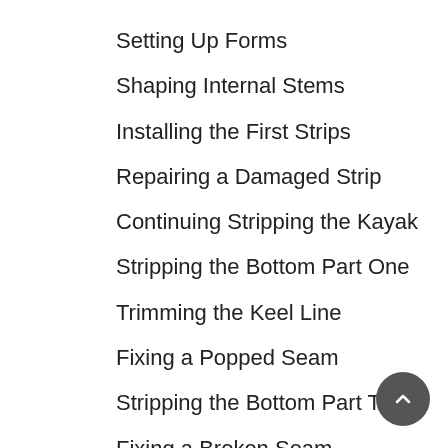Setting Up Forms
Shaping Internal Stems
Installing the First Strips
Repairing a Damaged Strip
Continuing Stripping the Kayak
Stripping the Bottom Part One
Trimming the Keel Line
Fixing a Popped Seam
Stripping the Bottom Part Two
Fixing a Broken Seam
Closing the Bottom
Applying a Fill Coat